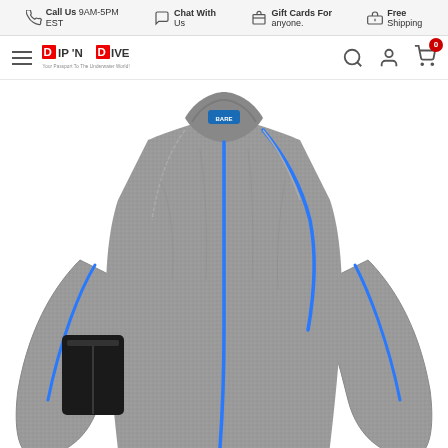Call Us 9AM-5PM EST | Chat With Us | Gift Cards For anyone. | Free Shipping
[Figure (logo): Dip 'N Dive logo - Your Passport To The Underwater World]
[Figure (photo): Gray thermal undersuit with blue stitching accents and black arm pocket, displayed on headless mannequin - product photo for diving/wetsuit underlayer]